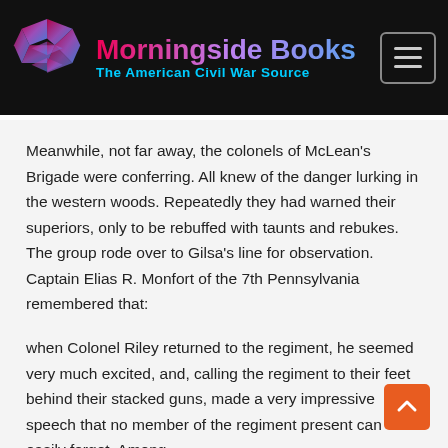Morningside Books — The American Civil War Source
Meanwhile, not far away, the colonels of McLean's Brigade were conferring. All knew of the danger lurking in the western woods. Repeatedly they had warned their superiors, only to be rebuffed with taunts and rebukes. The group rode over to Gilsa's line for observation. Captain Elias R. Monfort of the 7th Pennsylvania remembered that:
when Colonel Riley returned to the regiment, he seemed very much excited, and, calling the regiment to their feet behind their stacked guns, made a very impressive speech that no member of the regiment present can easily forget. Among